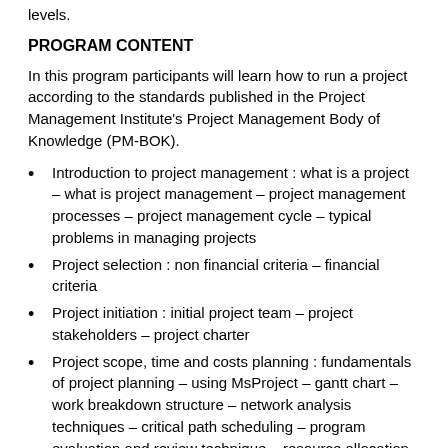levels.
PROGRAM CONTENT
In this program participants will learn how to run a project according to the standards published in the Project Management Institute's Project Management Body of Knowledge (PM-BOK).
Introduction to project management : what is a project – what is project management – project management processes – project management cycle – typical problems in managing projects
Project selection : non financial criteria – financial criteria
Project initiation : initial project team – project stakeholders – project charter
Project scope, time and costs planning : fundamentals of project planning – using MsProject – gantt chart – work breakdown structure – network analysis techniques – critical path scheduling – program evaluation and review technique – resource allocation – resource leveling – compressing schedules – project cost estimating
Project quality management : quality plan – quality assurance – quality control